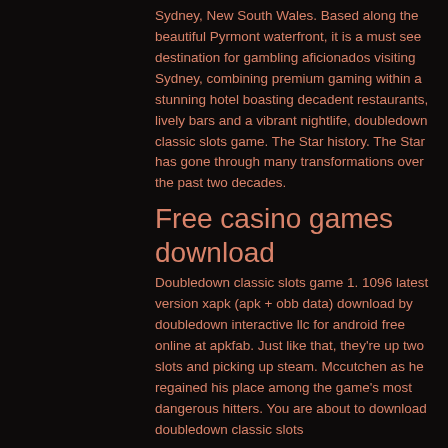Sydney, New South Wales. Based along the beautiful Pyrmont waterfront, it is a must see destination for gambling aficionados visiting Sydney, combining premium gaming within a stunning hotel boasting decadent restaurants, lively bars and a vibrant nightlife, doubledown classic slots game. The Star history. The Star has gone through many transformations over the past two decades.
Free casino games download
Doubledown classic slots game 1. 1096 latest version xapk (apk + obb data) download by doubledown interactive llc for android free online at apkfab. Just like that, they're up two slots and picking up steam. Mccutchen as he regained his place among the game's most dangerous hitters. You are about to download doubledown classic slots